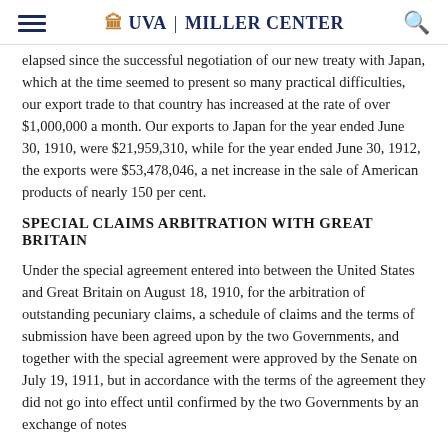UVA | MILLER CENTER
elapsed since the successful negotiation of our new treaty with Japan, which at the time seemed to present so many practical difficulties, our export trade to that country has increased at the rate of over $1,000,000 a month. Our exports to Japan for the year ended June 30, 1910, were $21,959,310, while for the year ended June 30, 1912, the exports were $53,478,046, a net increase in the sale of American products of nearly 150 per cent.
SPECIAL CLAIMS ARBITRATION WITH GREAT BRITAIN
Under the special agreement entered into between the United States and Great Britain on August 18, 1910, for the arbitration of outstanding pecuniary claims, a schedule of claims and the terms of submission have been agreed upon by the two Governments, and together with the special agreement were approved by the Senate on July 19, 1911, but in accordance with the terms of the agreement they did not go into effect until confirmed by the two Governments by an exchange of notes